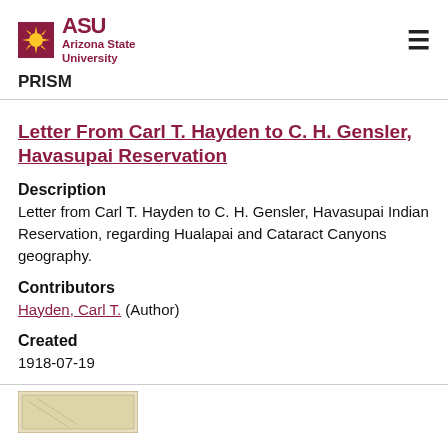ASU Arizona State University | PRISM
Letter From Carl T. Hayden to C. H. Gensler, Havasupai Reservation
Description
Letter from Carl T. Hayden to C. H. Gensler, Havasupai Indian Reservation, regarding Hualapai and Cataract Canyons geography.
Contributors
Hayden, Carl T. (Author)
Created
1918-07-19
[Figure (photo): Thumbnail image of the document at the bottom of the page]